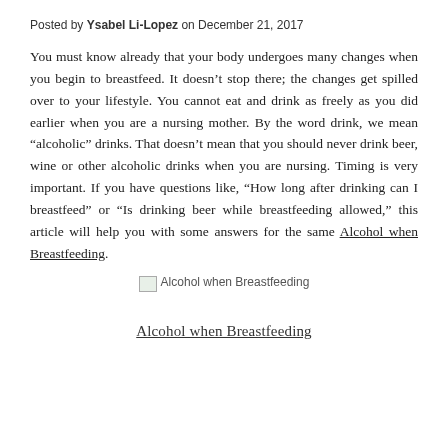Posted by Ysabel Li-Lopez on December 21, 2017
You must know already that your body undergoes many changes when you begin to breastfeed. It doesn’t stop there; the changes get spilled over to your lifestyle. You cannot eat and drink as freely as you did earlier when you are a nursing mother. By the word drink, we mean “alcoholic” drinks. That doesn’t mean that you should never drink beer, wine or other alcoholic drinks when you are nursing. Timing is very important. If you have questions like, “How long after drinking can I breastfeed” or “Is drinking beer while breastfeeding allowed,” this article will help you with some answers for the same Alcohol when Breastfeeding.
[Figure (photo): Broken image placeholder labeled ‘Alcohol when Breastfeeding’]
Alcohol when Breastfeeding